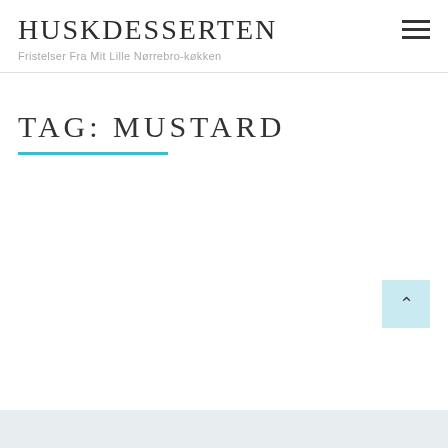HUSKDESSERTEN
Fristelser Fra Mit Lille Nørrebro-køkken
TAG: MUSTARD
[Figure (other): Back to top button — light blue square with upward caret arrow symbol]